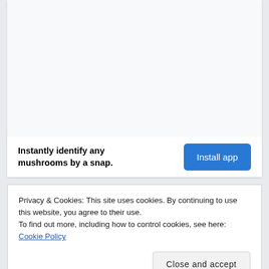[Figure (screenshot): App advertisement card with white space at top (image area), and a bottom bar showing the tagline 'Instantly identify any mushrooms by a snap.' and a blue 'Install app' button.]
Privacy & Cookies: This site uses cookies. By continuing to use this website, you agree to their use.
To find out more, including how to control cookies, see here: Cookie Policy
Close and accept